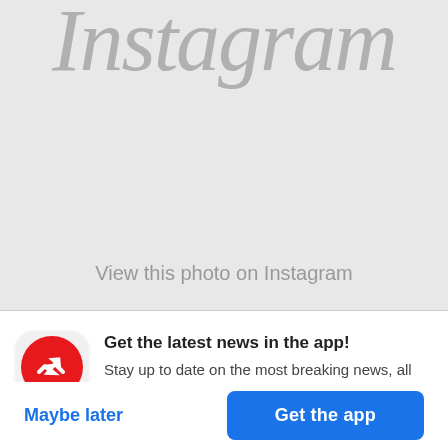[Figure (screenshot): Instagram app logo (partial, clipped at top and right) shown in gray on a light gray background]
View this photo on Instagram
[Figure (logo): BuzzFeed app icon: red circle with white trending arrow logo, rounded square shape]
Get the latest news in the app! Stay up to date on the most breaking news, all from your BuzzFeed app.
Maybe later
Get the app